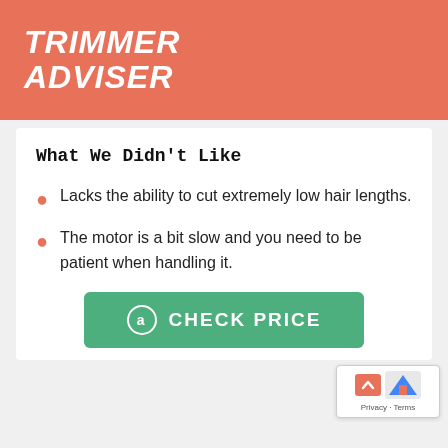TRIMMER ADVISER
What We Didn't Like
Lacks the ability to cut extremely low hair lengths.
The motor is a bit slow and you need to be patient when handling it.
[Figure (other): Green 'CHECK PRICE' button with Amazon logo]
Privacy · Terms